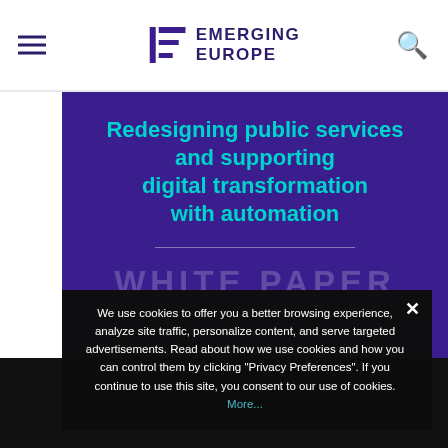EMERGING EUROPE
Redesigning public services and supporting digital transformation with automation
WHITE PAPER
We use cookies to offer you a better browsing experience, analyze site traffic, personalize content, and serve targeted advertisements. Read about how we use cookies and how you can control them by clicking "Privacy Preferences". If you continue to use this site, you consent to our use of cookies. More...